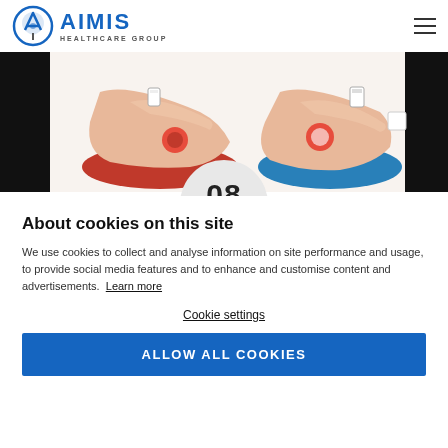AIMIS HEALTHCARE GROUP
[Figure (photo): Medical illustration showing two cartoon-style arms resting on colored cushions (red and blue), with medical devices attached, against a white background. The image is partially cut off at the top.]
08
About cookies on this site
We use cookies to collect and analyse information on site performance and usage, to provide social media features and to enhance and customise content and advertisements.  Learn more
Cookie settings
ALLOW ALL COOKIES